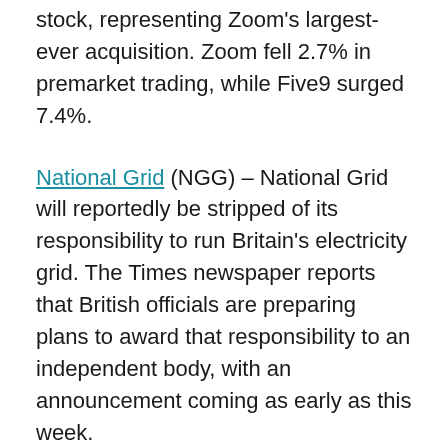stock, representing Zoom's largest-ever acquisition. Zoom fell 2.7% in premarket trading, while Five9 surged 7.4%.
National Grid (NGG) – National Grid will reportedly be stripped of its responsibility to run Britain's electricity grid. The Times newspaper reports that British officials are preparing plans to award that responsibility to an independent body, with an announcement coming as early as this week.
Ingersoll-Rand (IR) – The industrial equipment and services company has been rebuffed in its bid to initiate takeover talks with manufacturing equipment maker SPX Flow (SPXC), according to people familiar with the matter who spoke to Reuters. The sources said the most recent per-share offer was in the low $80s, which SPX Flow is said to have dismissed as inadequate.